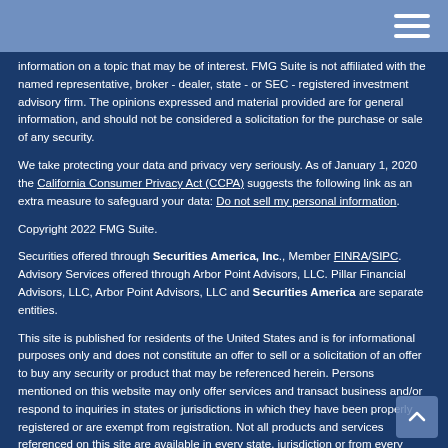information on a topic that may be of interest. FMG Suite is not affiliated with the named representative, broker - dealer, state - or SEC - registered investment advisory firm. The opinions expressed and material provided are for general information, and should not be considered a solicitation for the purchase or sale of any security.
We take protecting your data and privacy very seriously. As of January 1, 2020 the California Consumer Privacy Act (CCPA) suggests the following link as an extra measure to safeguard your data: Do not sell my personal information.
Copyright 2022 FMG Suite.
Securities offered through Securities America, Inc., Member FINRA/SIPC. Advisory Services offered through Arbor Point Advisors, LLC. Pillar Financial Advisors, LLC, Arbor Point Advisors, LLC and Securities America are separate entities.
This site is published for residents of the United States and is for informational purposes only and does not constitute an offer to sell or a solicitation of an offer to buy any security or product that may be referenced herein. Persons mentioned on this website may only offer services and transact business and/or respond to inquiries in states or jurisdictions in which they have been properly registered or are exempt from registration. Not all products and services referenced on this site are available in every state, jurisdiction or from every person listed.